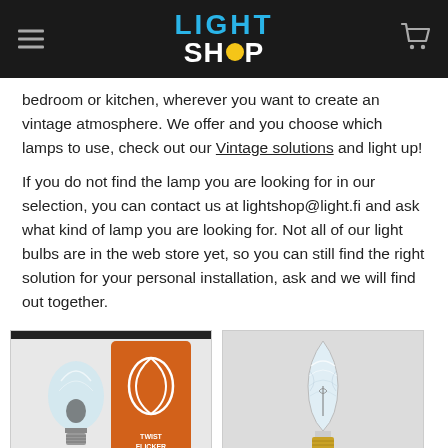LIGHT SHOP
bedroom or kitchen, wherever you want to create an vintage atmosphere. We offer and you choose which lamps to use, check out our Vintage solutions and light up!
If you do not find the lamp you are looking for in our selection, you can contact us at lightshop@light.fi and ask what kind of lamp you are looking for. Not all of our light bulbs are in the web store yet, so you can still find the right solution for your personal installation, ask and we will find out together.
[Figure (photo): Photo of a Twist Flicker E27 light bulb next to its orange product packaging box.]
[Figure (photo): Photo of a clear decorative candle-style light bulb with a gold base/fitting.]